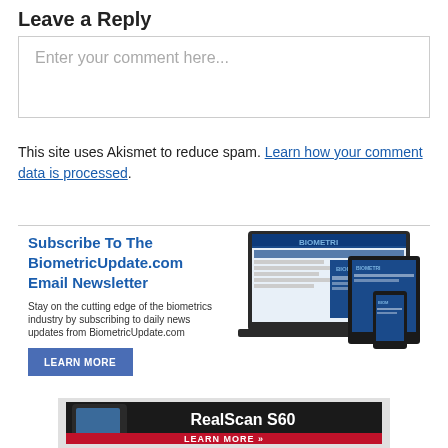Leave a Reply
Enter your comment here...
This site uses Akismet to reduce spam. Learn how your comment data is processed.
[Figure (infographic): Subscribe To The BiometricUpdate.com Email Newsletter advertisement with device mockups (laptop, tablet, phone) showing the BiometricUpdate.com website, a Learn More button, and description text.]
[Figure (infographic): Advertisement for RealScan S60 biometric device showing a dark fingerprint scanner on left and white text reading RealScan S60 on right, with a red LEARN MORE bar at bottom.]